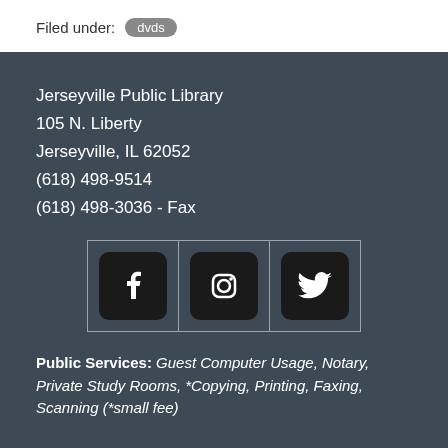Filed under: dvds
Jerseyville Public Library
105 N. Liberty
Jerseyville, IL 62052
(618) 498-9514
(618) 498-3036 - Fax
[Figure (other): Three social media icons in a grid: Facebook, Instagram, Twitter]
Public Services: Guest Computer Usage, Notary, Private Study Rooms, *Copying, Printing, Faxing, Scanning (*small fee)